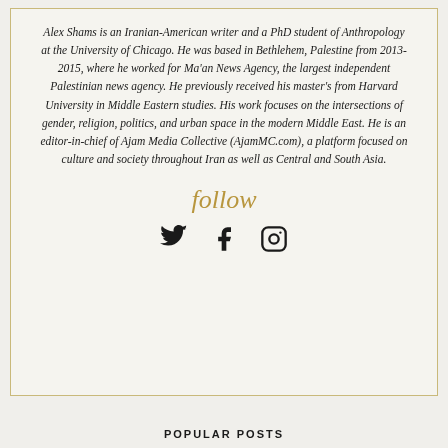Alex Shams is an Iranian-American writer and a PhD student of Anthropology at the University of Chicago. He was based in Bethlehem, Palestine from 2013-2015, where he worked for Ma'an News Agency, the largest independent Palestinian news agency. He previously received his master's from Harvard University in Middle Eastern studies. His work focuses on the intersections of gender, religion, politics, and urban space in the modern Middle East. He is an editor-in-chief of Ajam Media Collective (AjamMC.com), a platform focused on culture and society throughout Iran as well as Central and South Asia.
[Figure (other): Cursive script 'follow' in gold/tan color]
[Figure (other): Social media icons: Twitter bird, Facebook f, Instagram camera]
POPULAR POSTS